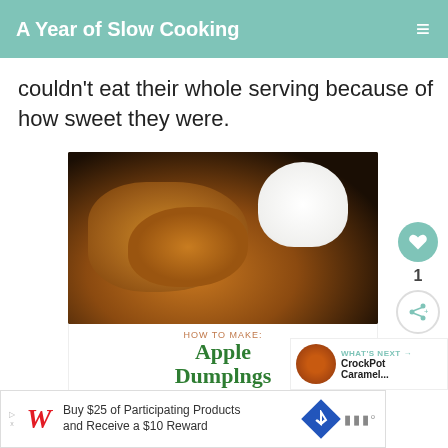A Year of Slow Cooking
couldn't eat their whole serving because of how sweet they were.
[Figure (photo): Apple dumplings with ice cream on a dark plate, with text overlay reading HOW TO MAKE: APPLE DUMPLNGS in the slow cooker, ayearofslowcooking.com]
1
WHAT'S NEXT → CrockPot Caramel...
[Figure (photo): Green bottles in dark background - partial image]
Buy $25 of Participating Products and Receive a $10 Reward